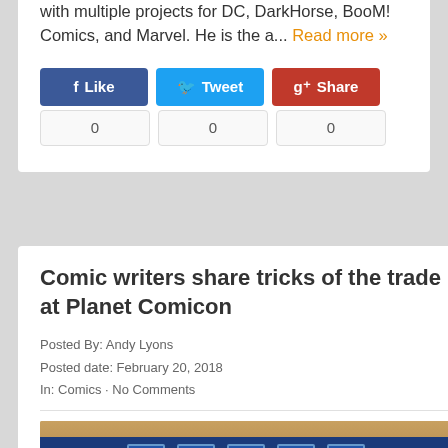with multiple projects for DC, DarkHorse, BooM! Comics, and Marvel. He is the a... Read more »
Like 0 | Tweet 0 | Share 0
Comic writers share tricks of the trade at Planet Comicon
Posted By: Andy Lyons
Posted date: February 20, 2018
In: Comics · No Comments
[Figure (photo): Photo of a panel display or screen in a room, dark blue background with multiple white panel icons/thumbnails visible]